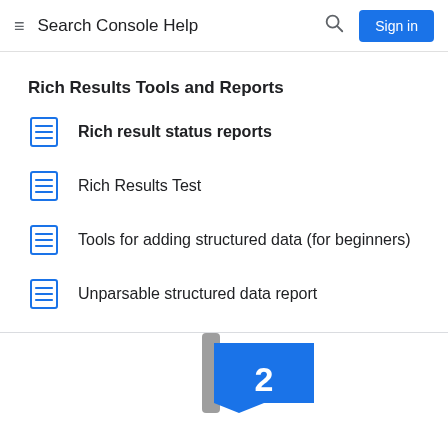Search Console Help
Rich Results Tools and Reports
Rich result status reports
Rich Results Test
Tools for adding structured data (for beginners)
Unparsable structured data report
[Figure (illustration): Partial view of a Google Search Console illustration with a blue banner/sign shape and a grey pole, showing the number 2]